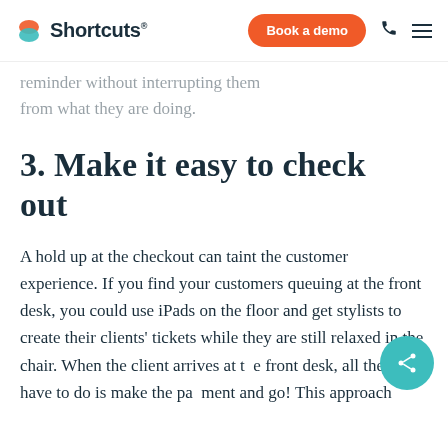Shortcuts — Book a demo
reminder without interrupting them from what they are doing.
3. Make it easy to check out
A hold up at the checkout can taint the customer experience. If you find your customers queuing at the front desk, you could use iPads on the floor and get stylists to create their clients' tickets while they are still relaxed in the chair. When the client arrives at the front desk, all they have to do is make the payment and go! This approach